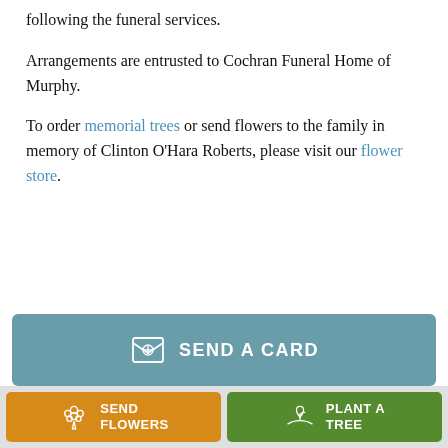following the funeral services.
Arrangements are entrusted to Cochran Funeral Home of Murphy.
To order memorial trees or send flowers to the family in memory of Clinton O'Hara Roberts, please visit our flower store.
[Figure (other): Teal banner with card icon and text SEND A CARD]
[Figure (other): Orange button with flower bouquet icon and text SEND FLOWERS; Green button with plant/hand icon and text PLANT A TREE]